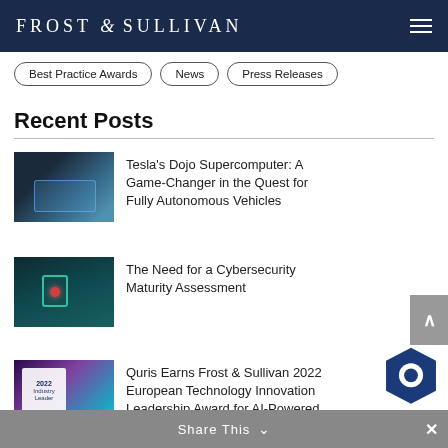FROST & SULLIVAN
Best Practice Awards
News
Press Releases
Recent Posts
[Figure (photo): Car interior with autonomous driving display]
Tesla's Dojo Supercomputer: A Game-Changer in the Quest for Fully Autonomous Vehicles
[Figure (photo): Cybersecurity concept with glowing red orb and digital locks]
The Need for a Cybersecurity Maturity Assessment
[Figure (photo): Quris 2022 Industry Leader award with glowing tunnel background]
Quris Earns Frost & Sullivan 2022 European Technology Innovation Leadership Award for AI-Powered Drug Prediction
Share This